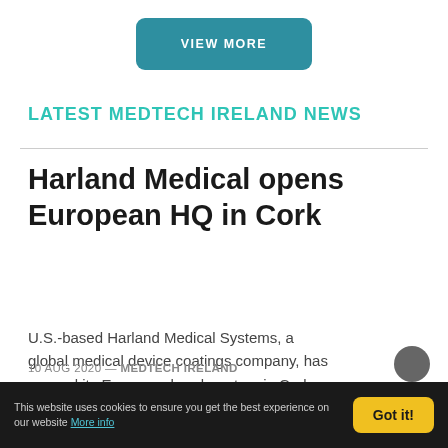[Figure (other): VIEW MORE button — teal rounded rectangle]
LATEST MEDTECH IRELAND NEWS
Harland Medical opens European HQ in Cork
U.S.-based Harland Medical Systems, a global medical device coatings company, has opened its European headquarters in Cork, Ireland. READ MORE
10 AUG 2020 — MEDTECH IRELAND
This website uses cookies to ensure you get the best experience on our website More info
[Figure (other): Got it! cookie consent button — yellow rounded rectangle]